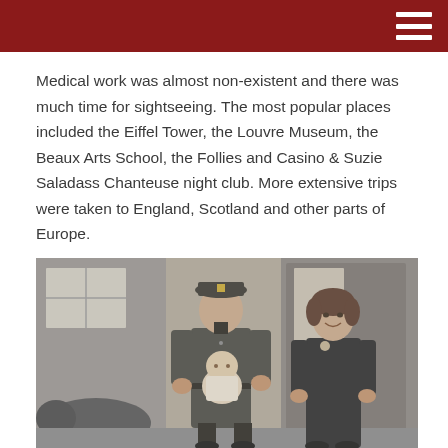Medical work was almost non-existent and there was much time for sightseeing. The most popular places included the Eiffel Tower, the Louvre Museum, the Beaux Arts School, the Follies and Casino & Suzie Saladass Chanteuse night club. More extensive trips were taken to England, Scotland and other parts of Europe.
[Figure (photo): Black and white photograph of a man in military uniform holding a baby, standing next to a woman, in front of a building entrance.]